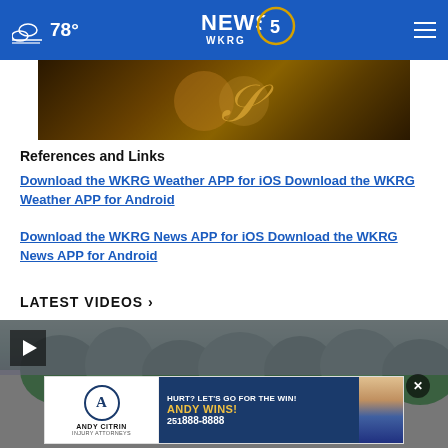78° NEWS 5 WKRG
[Figure (photo): Partial decorative image with dark golden/brown tones showing a stylized letter S shape]
References and Links
Download the WKRG Weather APP for iOS Download the WKRG Weather APP for Android
Download the WKRG News APP for iOS Download the WKRG News APP for Android
LATEST VIDEOS ›
[Figure (screenshot): Video thumbnail showing trees and stormy sky with a play button in top left corner]
[Figure (photo): Andy Citrin Injury Attorneys advertisement: HURT? LET'S GO FOR THE WIN! ANDY WINS! 251-888-8888]